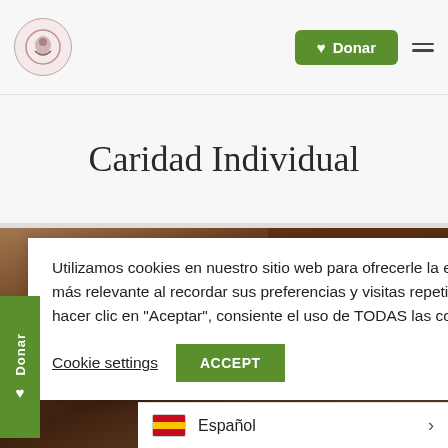Donar
Caridad Individual
[Figure (screenshot): Cookie consent banner overlaid on a photo of a person with dark hair. Includes text about cookies, Cookie settings link, and ACCEPT button. Social media icons (Facebook, Twitter, YouTube, Instagram) visible on right. Language selector showing Español at bottom right. Side Donar button on left.]
Utilizamos cookies en nuestro sitio web para ofrecerle la experiencia más relevante al recordar sus preferencias y visitas repetidas. Al hacer clic en "Aceptar", consiente el uso de TODAS las cookies.
Cookie settings  ACCEPT